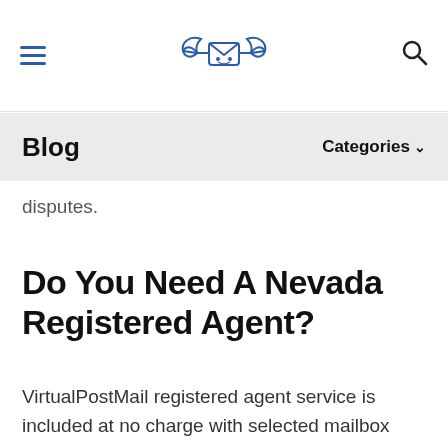≡ [logo] 🔍
Blog   Categories ▾
disputes.
Do You Need A Nevada Registered Agent?
VirtualPostMail registered agent service is included at no charge with selected mailbox plans. You can save over $100 a year